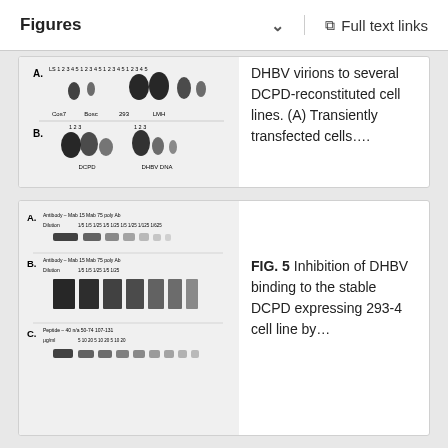Figures   ∨   Full text links
[Figure (photo): Western blot figure showing DHBV binding to several DCPD-reconstituted cell lines. Panel A: lanes labeled Cos7, Bosc, 293, LMH with multiple sample lanes (LS 1 2 3 4 5). Panel B: DCPD and DHBV DNA lanes labeled 1 2 3.]
DHBV virions to several DCPD-reconstituted cell lines. (A) Transiently transfected cells….
[Figure (photo): Western blot figure showing inhibition of DHBV binding. Panel A: Antibody conditions with Mab 15, Mab 75, poly Ab; Dilution rows. Panel B: Same antibody conditions with different dilutions. Panel C: Peptide conditions with 40 n/a, 50-74, 107-131 µg/ml.]
FIG. 5 Inhibition of DHBV binding to the stable DCPD expressing 293-4 cell line by…
FIG. 6
Internalization of